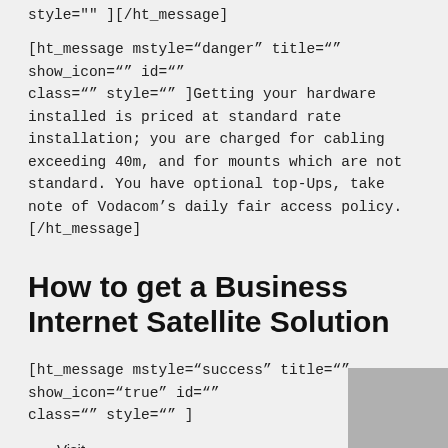style="" ][/ht_message]
[ht_message mstyle="danger" title="" show_icon="" id="" class="" style="" ]Getting your hardware installed is priced at standard rate installation; you are charged for cabling exceeding 40m, and for mounts which are not standard. You have optional top-Ups, take note of Vodacom's daily fair access policy.[/ht_message]
How to get a Business Internet Satellite Solution
[ht_message mstyle="success" title="" show_icon="true" id="" class="" style="" ]
Visit https://www.vodacombusiness.co.za/business/solutions/internet/broadband-connect-wireless-lite